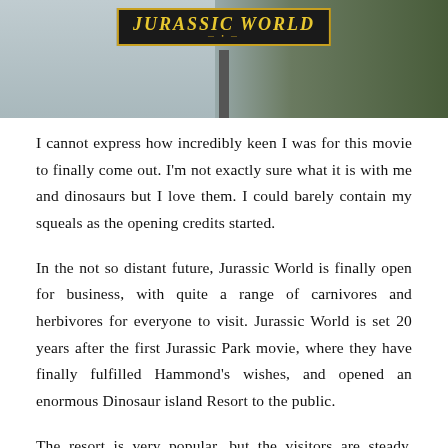[Figure (photo): Jurassic World movie sign/logo on a post against a grey sky with green trees in background]
I cannot express how incredibly keen I was for this movie to finally come out. I'm not exactly sure what it is with me and dinosaurs but I love them. I could barely contain my squeals as the opening credits started.
In the not so distant future, Jurassic World is finally open for business, with quite a range of carnivores and herbivores for everyone to visit. Jurassic World is set 20 years after the first Jurassic Park movie, where they have finally fulfilled Hammond's wishes, and opened an enormous Dinosaur island Resort to the public.
The resort is very popular, but the visitors are steady. Popularity always spikes when a new dinosaur is introduced, but the people want bigger, they want scarier and with more